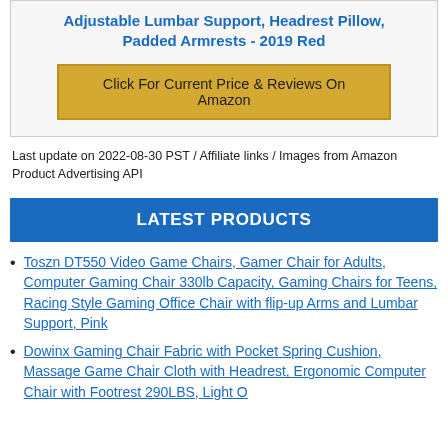Adjustable Lumbar Support, Headrest Pillow, Padded Armrests - 2019 Red
Click For Current Price & Reviews On Amazon
Last update on 2022-08-30 PST / Affiliate links / Images from Amazon Product Advertising API
LATEST PRODUCTS
Toszn DT550 Video Game Chairs, Gamer Chair for Adults, Computer Gaming Chair 330lb Capacity, Gaming Chairs for Teens, Racing Style Gaming Office Chair with flip-up Arms and Lumbar Support, Pink
Dowinx Gaming Chair Fabric with Pocket Spring Cushion, Massage Game Chair Cloth with Headrest, Ergonomic Computer Chair with Footrest 290LBS, Light Orange